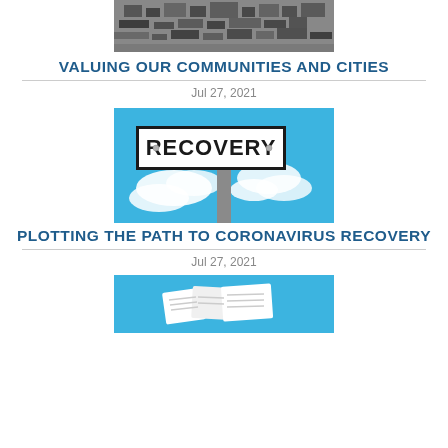[Figure (photo): Black and white aerial/overhead photo of a city or urban area]
VALUING OUR COMMUNITIES AND CITIES
Jul 27, 2021
[Figure (photo): Color photo of a road sign pointing right with the word RECOVERY on it, against a blue sky with clouds]
PLOTTING THE PATH TO CORONAVIRUS RECOVERY
Jul 27, 2021
[Figure (photo): Color photo with blue background showing what appears to be documents or newspapers, partially cropped at bottom]